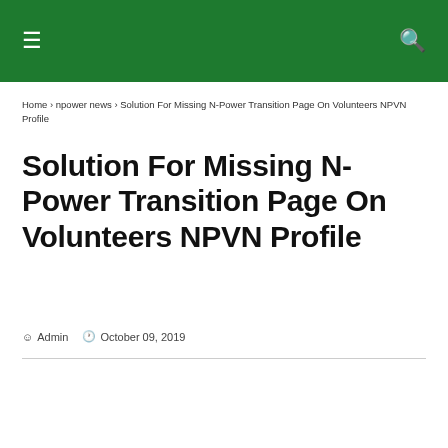≡  🔍
Home › npower news › Solution For Missing N-Power Transition Page On Volunteers NPVN Profile
Solution For Missing N-Power Transition Page On Volunteers NPVN Profile
Admin  October 09, 2019